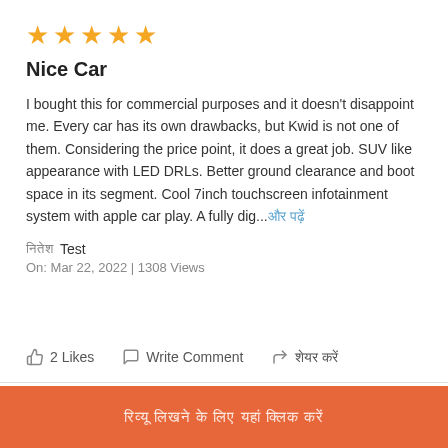[Figure (other): Five orange star rating icons]
Nice Car
I bought this for commercial purposes and it doesn't disappoint me. Every car has its own drawbacks, but Kwid is not one of them. Considering the price point, it does a great job. SUV like appearance with LED DRLs. Better ground clearance and boot space in its segment. Cool 7inch touchscreen infotainment system with apple car play. A fully dig...और पढ़ें
नितेश Test
On: Mar 22, 2022 | 1308 Views
2 Likes   Write Comment   शेयर करें
रिव्यू लिखने के लिए यहां क्लिक करें